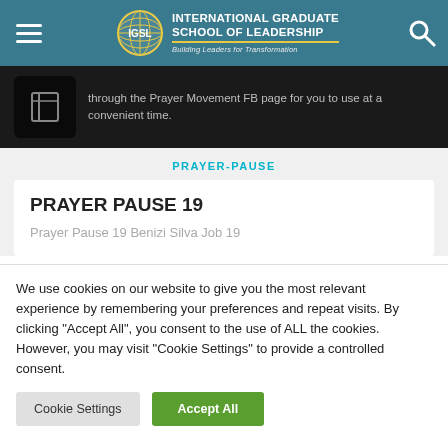INTERNATIONAL GRADUATE SCHOOL OF LEADERSHIP — Building Leaders for Transformation
[Figure (screenshot): Partial image strip showing a book icon and overlay text: 'through the Prayer Movement FB page for you to use at a convenient time.']
PRAYER-PAUSE
PRAYER PAUSE 19
Prayer Pause 19 Benizi Silva Job 19
We use cookies on our website to give you the most relevant experience by remembering your preferences and repeat visits. By clicking "Accept All", you consent to the use of ALL the cookies. However, you may visit "Cookie Settings" to provide a controlled consent.
Cookie Settings | Accept All